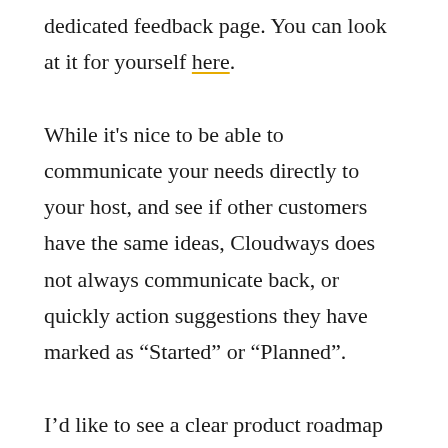dedicated feedback page. You can look at it for yourself here.
While it's nice to be able to communicate your needs directly to your host, and see if other customers have the same ideas, Cloudways does not always communicate back, or quickly action suggestions they have marked as “Started” or “Planned”.
I’d like to see a clear product roadmap that shows what features and planned, and when we can